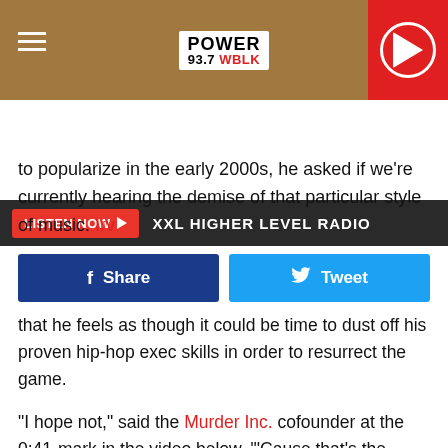[Figure (logo): Power 93.7 WBLK radio station header with hamburger menu on left and play button on right]
LISTEN NOW ▶  XXL HIGHER LEVEL RADIO
to popularize in the early 2000s, he asked if we're currently hearing the demise of that particular style of music. Irv
Share   Tweet
that he feels as though it could be time to dust off his proven hip-hop exec skills in order to resurrect the game.
"I hope not," said the Murder Inc. cofounder at the 0:41-mark in the video below. "'Cause that's the demise of rap, the demise of hip-hop. As long as I'm alive, it could never be demise of hip-hop. I gotta get back in the game and find me a nigga then."